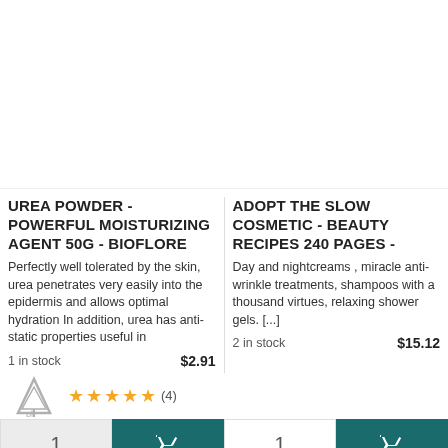UREA POWDER - POWERFUL MOISTURIZING AGENT 50G - BIOFLORE
ADOPT THE SLOW COSMETIC - BEAUTY RECIPES 240 PAGES -
Perfectly well tolerated by the skin, urea penetrates very easily into the epidermis and allows optimal hydration In addition, urea has anti-static properties useful in
Day and nightcreams , miracle anti-wrinkle treatments, shampoos with a thousand virtues, relaxing shower gels. [...]
1 in stock   $2.91
2 in stock   $15.12
★★★★★ (4)
Add to cart
6,88 $